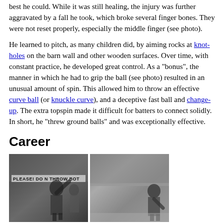best he could. While it was still healing, the injury was further aggravated by a fall he took, which broke several finger bones. They were not reset properly, especially the middle finger (see photo).
He learned to pitch, as many children did, by aiming rocks at knotholes on the barn wall and other wooden surfaces. Over time, with constant practice, he developed great control. As a "bonus", the manner in which he had to grip the ball (see photo) resulted in an unusual amount of spin. This allowed him to throw an effective curve ball (or knuckle curve), and a deceptive fast ball and change-up. The extra topspin made it difficult for batters to connect solidly. In short, he "threw ground balls" and was exceptionally effective.
Career
[Figure (photo): Two side-by-side black and white photographs of a baseball player, likely from the early 20th century. Left photo shows a player in a Cubs uniform throwing or pitching, with a sign in the background reading 'PLEASE DO NOT THROW BOT...'. Right photo shows a player in a Cubs uniform walking or jogging on the field with stadium crowd visible in the background.]